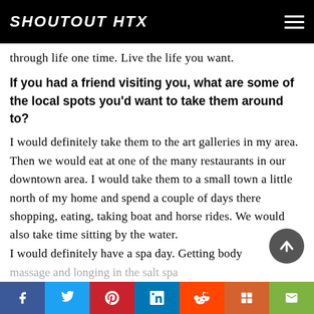SHOUTOUT HTX
through life one time. Live the life you want.
If you had a friend visiting you, what are some of the local spots you'd want to take them around to?
I would definitely take them to the art galleries in my area. Then we would eat at one of the many restaurants in our downtown area. I would take them to a small town a little north of my home and spend a couple of days there shopping, eating, taking boat and horse rides. We would also take time sitting by the water. I would definitely have a spa day. Getting body massage and lounging in the salt spa
f  t  p  in  reddit  mix  email